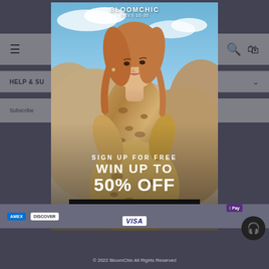≡  [search] [bag]
HELP & SU... ∨
Subscribe ... a-lifetime
[Figure (photo): Popup modal overlay showing a woman in a leopard print dress sitting on rocks outdoors, with promotional text: SIGN UP FOR FREE, WIN UP TO 50% OFF, and a CLAIM MY COUPON button. BloomChic logo at top reading SIZES 10-30.]
AMEX  Apple Pay  VISA
© 2022 BloomChic All Rights Reserved